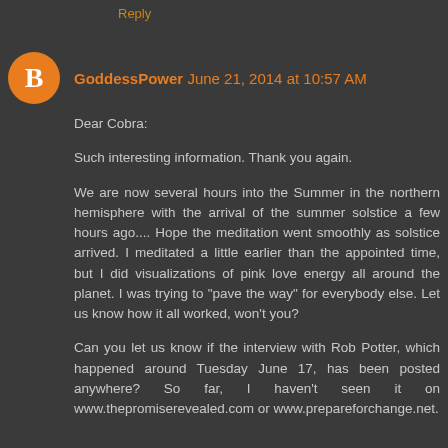Reply
GoddessPower June 21, 2014 at 10:57 AM
Dear Cobra:

Such interesting information. Thank you again.

We are now several hours into the Summer in the northern hemisphere with the arrival of the summer solstice a few hours ago.... Hope the meditation went smoothly as solstice arrived. I meditated a little earlier than the appointed time, but I did visualizations of pink love energy all around the planet. I was trying to "pave the way" for everybody else. Let us know how it all worked, won't you?

Can you let us know if the interview with Rob Potter, which happened around Tuesday June 17, has been posted anywhere? So far, I haven't seen it on www.thepromiserevealed.com or www.prepareforchange.net.